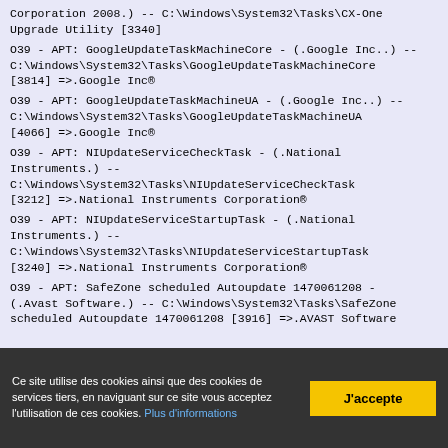Corporation 2008.) -- C:\Windows\System32\Tasks\CX-One Upgrade Utility [3340]
O39 - APT: GoogleUpdateTaskMachineCore - (.Google Inc..) -- C:\Windows\System32\Tasks\GoogleUpdateTaskMachineCore [3814] =>.Google Inc®
O39 - APT: GoogleUpdateTaskMachineUA - (.Google Inc..) -- C:\Windows\System32\Tasks\GoogleUpdateTaskMachineUA [4066] =>.Google Inc®
O39 - APT: NIUpdateServiceCheckTask - (.National Instruments.) -- C:\Windows\System32\Tasks\NIUpdateServiceCheckTask [3212] =>.National Instruments Corporation®
O39 - APT: NIUpdateServiceStartupTask - (.National Instruments.) -- C:\Windows\System32\Tasks\NIUpdateServiceStartupTask [3240] =>.National Instruments Corporation®
O39 - APT: SafeZone scheduled Autoupdate 1470061208 - (.Avast Software.) -- C:\Windows\System32\Tasks\SafeZone scheduled Autoupdate 1470061208 [3916] =>.AVAST Software
Ce site utilise des cookies ainsi que des cookies de services tiers, en naviguant sur ce site vous acceptez l'utilisation de ces cookies. Plus d'informations